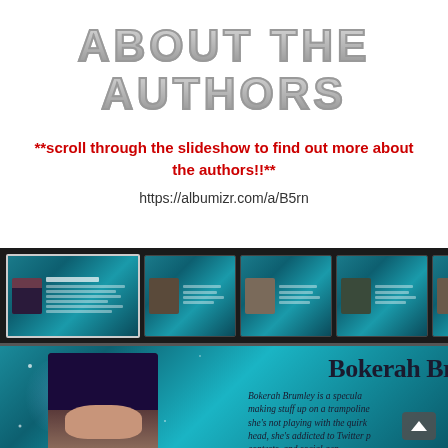ABOUT THE AUTHORS
**scroll through the slideshow to find out more about the authors!!**
https://albumizr.com/a/B5rn
[Figure (screenshot): Screenshot of an online slideshow (albumizr) showing author bio cards with teal/blue backgrounds. A filmstrip of thumbnail slides is visible at the top, followed by the main slide showing 'Bokerah Br...' (Bokerah Brumley) with a photo of a woman with blue/dark hair and an italic bio paragraph beginning 'Bokerah Brumley is a specula... making stuff up on a trampoline... she's not playing with the quir... head, she's addicted to Twitter p... contests, and social ... gen... fantasy novella role...']